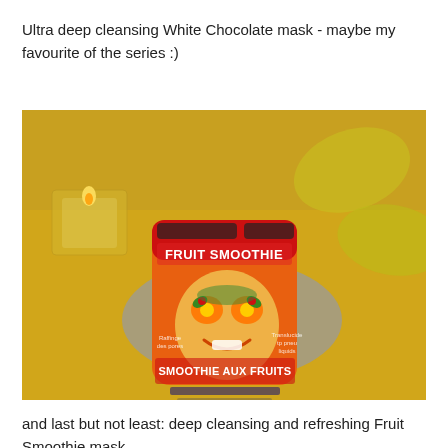Ultra deep cleansing White Chocolate mask - maybe my favourite of the series :)
[Figure (photo): A photo of a 7th Heaven Fruit Smoothie face mask packet held in a hand, placed on a table with a lit candle in a glass holder in the background. The packet features a cartoon face with fruit-themed eyes and reads 'FRUIT SMOOTHIE' and 'SMOOTHIE AUX FRUITS'.]
and last but not least: deep cleansing and refreshing Fruit Smoothie mask.